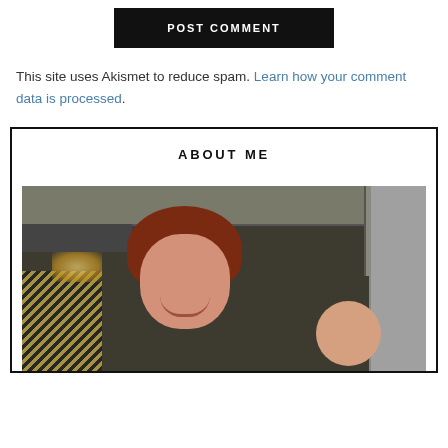POST COMMENT
This site uses Akismet to reduce spam. Learn how your comment data is processed.
ABOUT ME
[Figure (photo): Photo of a smiling woman with red hair holding a baby in a kitchen setting with mosaic backsplash tiles and cabinets visible in the background.]